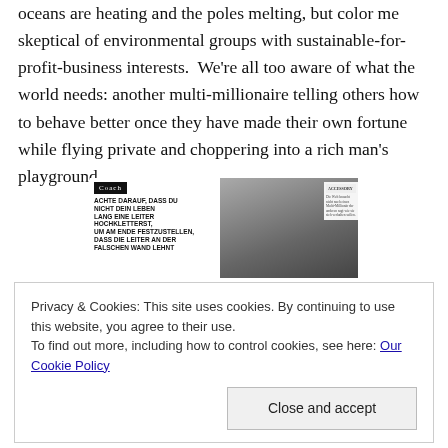oceans are heating and the poles melting, but color me skeptical of environmental groups with sustainable-for-profit-business interests.  We're all too aware of what the world needs: another multi-millionaire telling others how to behave better once they have made their own fortune while flying private and choppering into a rich man's playground.
[Figure (photo): Magazine spread image showing a Coach magazine page with German text 'ACHTE DARAUF, DASS DU NICHT DEIN LEBEN LANG EINE LEITER HOCHKLETTERST, UM AM ENDE FESTZUSTELLEN, DASS DIE LEITER AN DER FALSCHEN WAND LEHNT' alongside a black and white photo of a person near a ladder.]
Privacy & Cookies: This site uses cookies. By continuing to use this website, you agree to their use.
To find out more, including how to control cookies, see here: Our Cookie Policy